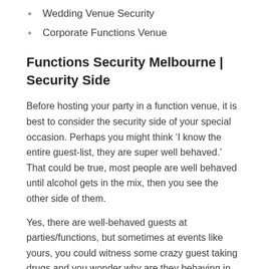Wedding Venue Security
Corporate Functions Venue
Functions Security Melbourne | Security Side
Before hosting your party in a function venue, it is best to consider the security side of your special occasion. Perhaps you might think ‘I know the entire guest-list, they are super well behaved.’ That could be true, most people are well behaved until alcohol gets in the mix, then you see the other side of them.
Yes, there are well-behaved guests at parties/functions, but sometimes at events like yours, you could witness some crazy guest taking drugs and you wonder why are they behaving in such a way on your special day.